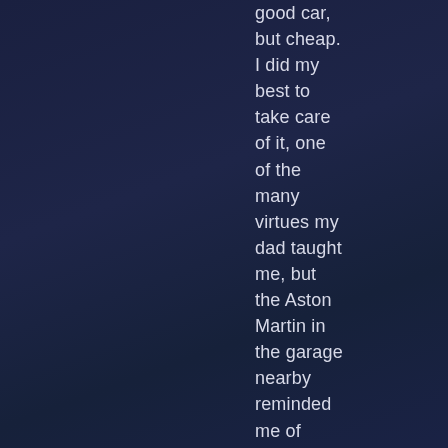good car, but cheap. I did my best to take care of it, one of the many virtues my dad taught me, but the Aston Martin in the garage nearby reminded me of what I could have had. I couldn't